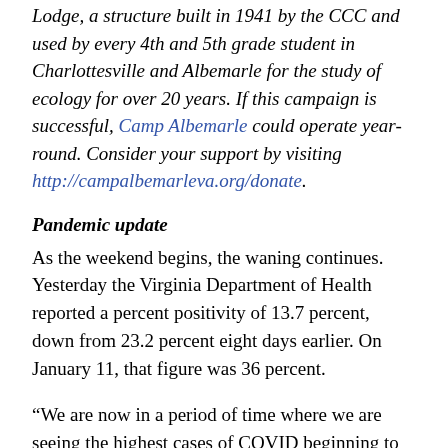Lodge, a structure built in 1941 by the CCC and used by every 4th and 5th grade student in Charlottesville and Albemarle for the study of ecology for over 20 years. If this campaign is successful, Camp Albemarle could operate year-round. Consider your support by visiting http://campalbemarleva.org/donate.
Pandemic update
As the weekend begins, the waning continues. Yesterday the Virginia Department of Health reported a percent positivity of 13.7 percent, down from 23.2 percent eight days earlier. On January 11, that figure was 36 percent.
“We are now in a period of time where we are seeing the highest cases of COVID beginning to come down,” said Dr. Kyle Enfield of the University of Virginia